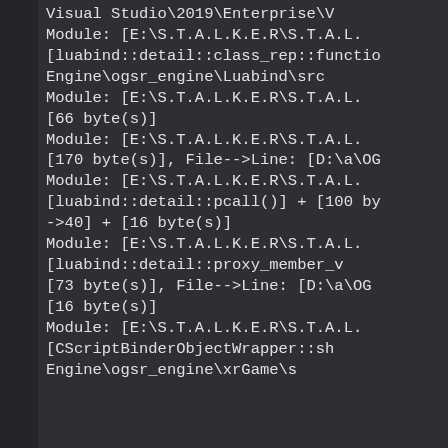[Figure (screenshot): Dark-themed IDE or debugger output window showing a stack trace / debug log with lines referencing Visual Studio 2019 Enterprise, S.T.A.L.K.E.R module paths, luabind detail functions, byte offsets, file/line references, CScriptBinderObjectWrapper, and ogsr_engine paths. Left side shows a dark sidebar panel.]